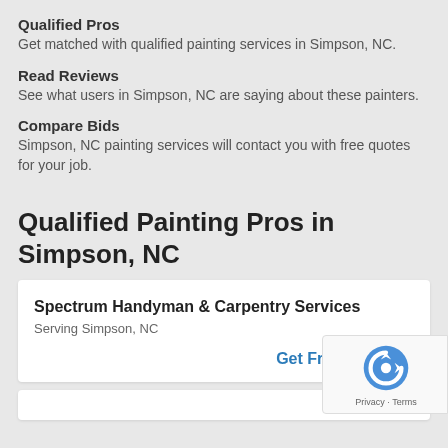Qualified Pros
Get matched with qualified painting services in Simpson, NC.
Read Reviews
See what users in Simpson, NC are saying about these painters.
Compare Bids
Simpson, NC painting services will contact you with free quotes for your job.
Qualified Painting Pros in Simpson, NC
Spectrum Handyman & Carpentry Services
Serving Simpson, NC
Get Free Quotes »
[Figure (other): reCAPTCHA badge with Google logo, Privacy and Terms links]